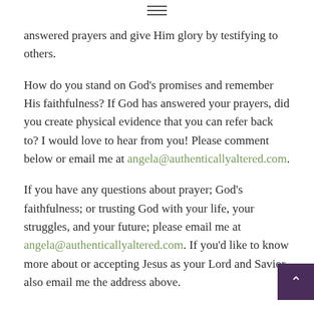≡
answered prayers and give Him glory by testifying to others.
How do you stand on God's promises and remember His faithfulness? If God has answered your prayers, did you create physical evidence that you can refer back to? I would love to hear from you! Please comment below or email me at angela@authenticallyaltered.com.
If you have any questions about prayer; God's faithfulness; or trusting God with your life, your struggles, and your future; please email me at angela@authenticallyaltered.com. If you'd like to know more about or accepting Jesus as your Lord and Savior also email me the address above.